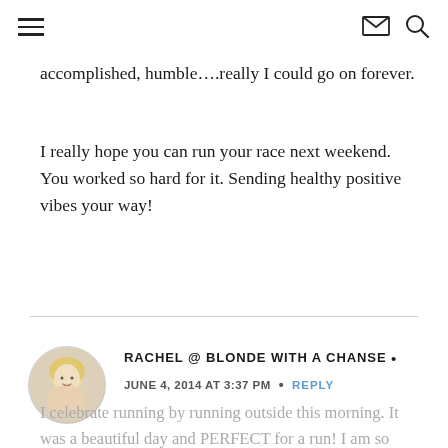[hamburger menu] [mail icon] [search icon]
accomplished, humble….really I could go on forever.
I really hope you can run your race next weekend. You worked so hard for it. Sending healthy positive vibes your way!
RACHEL @ BLONDE WITH A CHANSE •
JUNE 4, 2014 AT 3:37 PM  •  REPLY
I celebrate running by running outside this morning. It was a beautiful day and PERFECT for a run! I am so